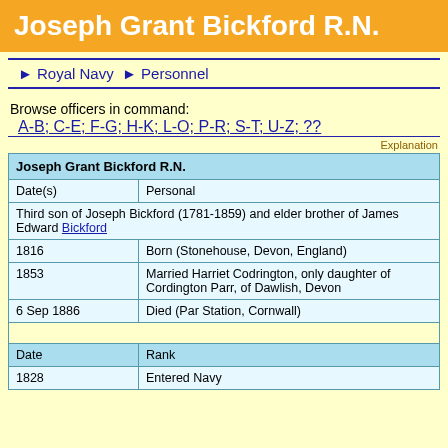Joseph Grant Bickford R.N.
► Royal Navy ► Personnel
Browse officers in command:
A-B; C-E; F-G; H-K; L-O; P-R; S-T; U-Z; ??
Explanation
| Joseph Grant Bickford R.N. |  |
| --- | --- |
| Date(s) | Personal |
| Third son of Joseph Bickford (1781-1859) and elder brother of James Edward Bickford |  |
| 1816 | Born (Stonehouse, Devon, England) |
| 1853 | Married Harriet Codrington, only daughter of Cordington Parr, of Dawlish, Devon |
| 6 Sep 1886 | Died (Par Station, Cornwall) |
|  |  |
| Date | Rank |
| 1828 | Entered Navy |